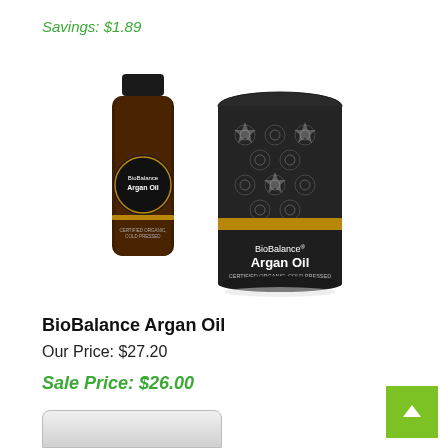Savings: $1.89
[Figure (photo): BioBalance Argan Oil product photo showing a dark amber glass dropper bottle and a cylindrical dark gift box with ornate Moroccan geometric pattern in white and gold. Both items display the BioBalance Argan Oil label.]
BioBalance Argan Oil
Our Price: $27.20
Sale Price: $26.00
Savings: $11.14